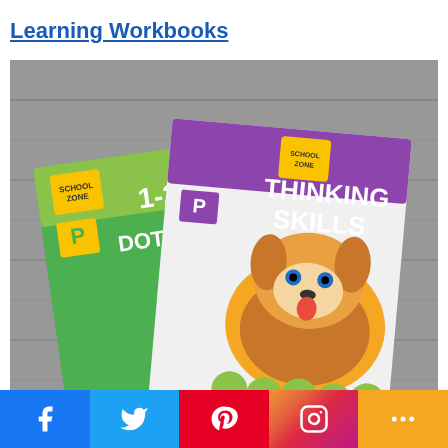Learning Workbooks
[Figure (photo): Two School Zone learning workbooks on a wooden floor surface — '1-2 Dot-to-Dot' and 'Thinking Skills', both for ages 3-5 (Pre-K), featuring cartoon illustrations of a dog with apples and a child at the beach. Both books have 'Growing Smarter Every Day!' tagline.]
Learning workbooks are a nice way to combine academic learning
Facebook Twitter Pinterest Instagram More